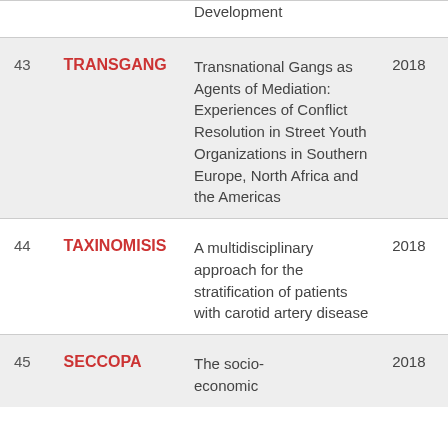| # | Name | Description | Year |
| --- | --- | --- | --- |
|  |  | Development |  |
| 43 | TRANSGANG | Transnational Gangs as Agents of Mediation: Experiences of Conflict Resolution in Street Youth Organizations in Southern Europe, North Africa and the Americas | 2018 |
| 44 | TAXINOMISIS | A multidisciplinary approach for the stratification of patients with carotid artery disease | 2018 |
| 45 | SECCOPA | The socio-economic | 2018 |